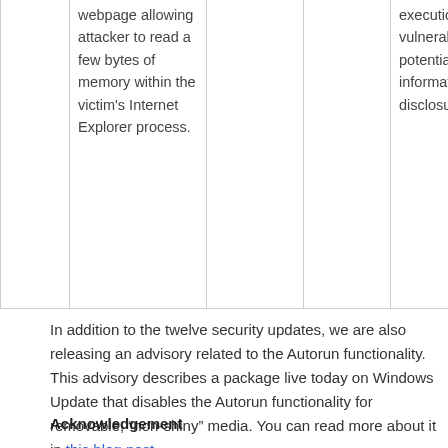|  | webpage allowing attacker to read a few bytes of memory within the victim's Internet Explorer process. |  |  | execution. This vulnerability has potential for information disclosure only. |
In addition to the twelve security updates, we are also releasing an advisory related to the Autorun functionality. This advisory describes a package live today on Windows Update that disables the Autorun functionality for removable, “non-shiny” media. You can read more about it in this blog post.
Acknowledgement